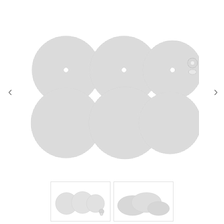[Figure (photo): Product image showing 6 circular mesh/filter discs arranged in 2 rows of 3. Top row discs have small center holes. A small hardware piece (nut and washer) is visible to the right of the top-right disc. All discs are light gray/white textured mesh material.]
[Figure (photo): Thumbnail image 1: Three small circular mesh discs side by side with a small nut/washer piece shown smaller scale.]
[Figure (photo): Thumbnail image 2: Several overlapping circular mesh discs shown at an angle.]